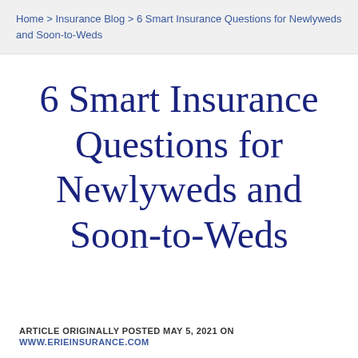Home > Insurance Blog > 6 Smart Insurance Questions for Newlyweds and Soon-to-Weds
6 Smart Insurance Questions for Newlyweds and Soon-to-Weds
ARTICLE ORIGINALLY POSTED MAY 5, 2021 ON WWW.ERIEINSURANCE.COM